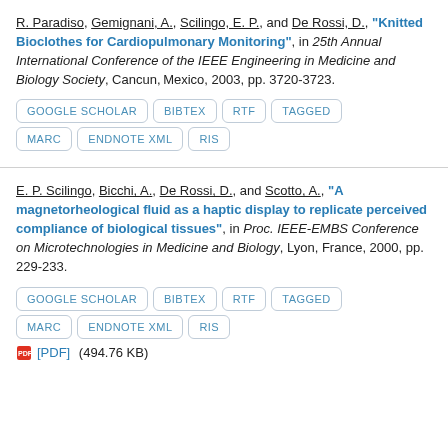R. Paradiso, Gemignani, A., Scilingo, E. P., and De Rossi, D., "Knitted Bioclothes for Cardiopulmonary Monitoring", in 25th Annual International Conference of the IEEE Engineering in Medicine and Biology Society, Cancun, Mexico, 2003, pp. 3720-3723.
GOOGLE SCHOLAR | BIBTEX | RTF | TAGGED | MARC | ENDNOTE XML | RIS
E. P. Scilingo, Bicchi, A., De Rossi, D., and Scotto, A., "A magnetorheological fluid as a haptic display to replicate perceived compliance of biological tissues", in Proc. IEEE-EMBS Conference on Microtechnologies in Medicine and Biology, Lyon, France, 2000, pp. 229-233.
GOOGLE SCHOLAR | BIBTEX | RTF | TAGGED | MARC | ENDNOTE XML | RIS
[PDF] (494.76 KB)